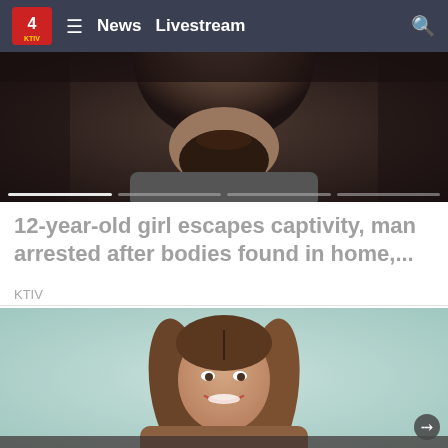News   Livestream
[Figure (photo): Close-up of a man with a beard, face partially visible from nose to chest, dark background, appears to be wearing a gray shirt or vest]
12-year-old girl escapes captivity, man arrested after bodies found in home,...
KTIV
[Figure (photo): Young woman with long brown hair smiling, standing against a light teal/mint background, wearing a brown top, shown from shoulders up with lower portion cut off by page edge]